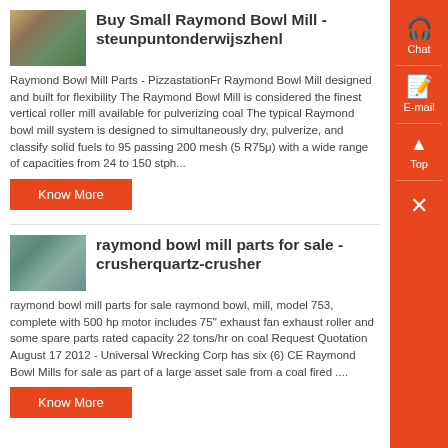Buy Small Raymond Bowl Mill - steunpuntonderwijszhenl
Raymond Bowl Mill Parts - PizzastationFr Raymond Bowl Mill designed and built for flexibility The Raymond Bowl Mill is considered the finest vertical roller mill available for pulverizing coal The typical Raymond bowl mill system is designed to simultaneously dry, pulverize, and classify solid fuels to 95 passing 200 mesh (5 R75μ) with a wide range of capacities from 24 to 150 stph...
Know More
raymond bowl mill parts for sale - crusherquartz-crusher
raymond bowl mill parts for sale raymond bowl, mill, model 753, complete with 500 hp motor includes 75" exhaust fan exhaust roller and some spare parts rated capacity 22 tons/hr on coal Request Quotation August 17 2012 - Universal Wrecking Corp has six (6) CE Raymond Bowl Mills for sale as part of a large asset sale from a coal fired ....
Know More